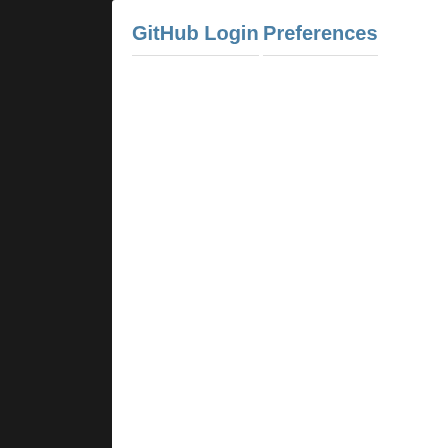GitHub Login
Preferences
1:11 PM Ticket #8441 (jQuery.ajax s... closed by jaubourg
worksforme
1:00 PM Ticket #8478 (ie7 "unexpec... jaubourg
invalid: It's most probably an except...
1:03 PM Ticket #8484 (Jquery AJAX... invalid
12:04 PM Ticket #8506 (html() has u... I have a set of tooltip functions that a...
12:18 PM Ticket #8505 (replaceWith... With this HTML [...] executing the fo...
11:46 AM Changeset [11c26b3] 1:1...
src/ajax.js
no need to specifically initialize cros...
11:38 AM Ticket #8504 ($().find() do...
XSLT: ... <div id="xmlData"> <newdc...
9:53 AM Ticket #8502 (.append on Il...
invalid: ajpiano is right, this is invali...
9:52 AM Ticket #8503 (Missing apos...
Hey there! I've noticed a bug in the c...
8:19 AM Ticket #8501 (css3 selecto...
invalid: Thank you for your time and ...
6:44 AM Ticket #8502 (.append on Il...
I found out that using sth like ...
3:19 AM Ticket #8501 (css3 selecto...